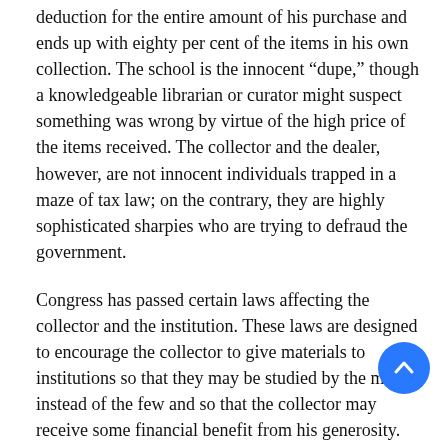deduction for the entire amount of his purchase and ends up with eighty per cent of the items in his own collection. The school is the innocent “dupe,” though a knowledgeable librarian or curator might suspect something was wrong by virtue of the high price of the items received. The collector and the dealer, however, are not innocent individuals trapped in a maze of tax law; on the contrary, they are highly sophisticated sharpies who are trying to defraud the government.
Congress has passed certain laws affecting the collector and the institution. These laws are designed to encourage the collector to give materials to institutions so that they may be studied by the many instead of the few and so that the collector may receive some financial benefit from his generosity. Congress never intended that the main motive for the gift would be tax avoidance.
Now it so happens, in the actual operation of this section of the Internal Revenue Act, that there are occasions when a donor of books, manuscripts, paintings, securities, or real estate may actually profit by making a gift to an